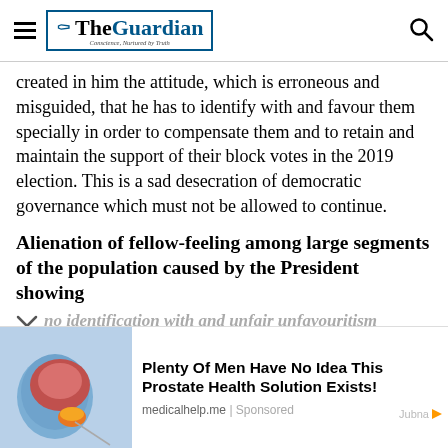The Guardian
created in him the attitude, which is erroneous and misguided, that he has to identify with and favour them specially in order to compensate them and to retain and maintain the support of their block votes in the 2019 election. This is a sad desecration of democratic governance which must not be allowed to continue.
Alienation of fellow-feeling among large segments of the population caused by the President showing no identification with and unfair unfavouritism
[Figure (infographic): Advertisement banner showing a gloved hand holding a prostate model with an orange supplement. Ad text reads: Plenty Of Men Have No Idea This Prostate Health Solution Exists! Source: medicalhelp.me | Sponsored. Jubna branding bottom right.]